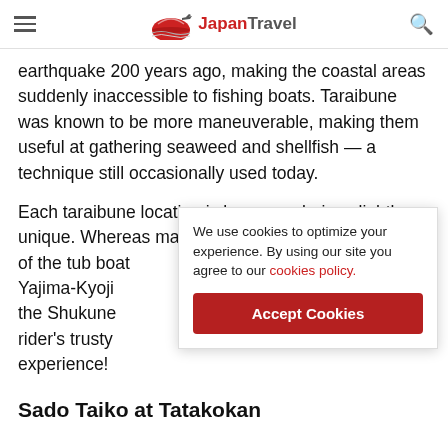Japan Travel
earthquake 200 years ago, making the coastal areas suddenly inaccessible to fishing boats. Taraibune was known to be more maneuverable, making them useful at gathering seaweed and shellfish — a technique still occasionally used today.
Each taraibune location is known as being slightly unique. Whereas many may recall the striking image of the tub boat Yajima-Kyoji the Shukune rider's trusty experience!
We use cookies to optimize your experience. By using our site you agree to our cookies policy.
Sado Taiko at Tatakokan